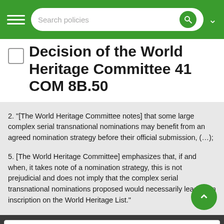Search policies
Decision of the World Heritage Committee 41 COM 8B.50
2. "[The World Heritage Committee notes] that some large complex serial transnational nominations may benefit from an agreed nomination strategy before their official submission, (…);
5. [The World Heritage Committee] emphasizes that, if and when, it takes note of a nomination strategy, this is not prejudicial and does not imply that the complex serial transnational nominations proposed would necessarily lead to an inscription on the World Heritage List."
Theme: 2.7.3 - Serial properties
Decision: 41 COM 8B.50